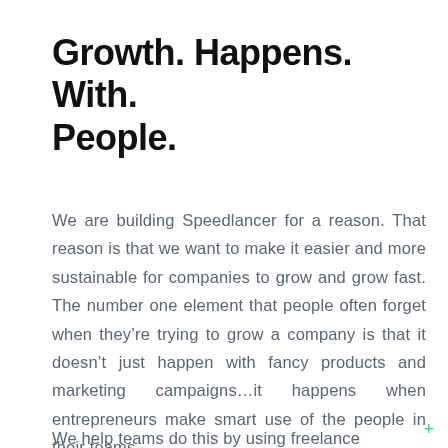Growth. Happens. With. People.
We are building Speedlancer for a reason. That reason is that we want to make it easier and more sustainable for companies to grow and grow fast. The number one element that people often forget when they’re trying to grow a company is that it doesn’t just happen with fancy products and marketing campaigns…it happens when entrepreneurs make smart use of the people in their teams.
We help teams do this by using freelance